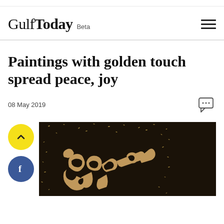Gulf Today Beta
Paintings with golden touch spread peace, joy
08 May 2019
[Figure (photo): Dark background painting with golden Arabic calligraphy script, with gold scattered flecks on black surface]